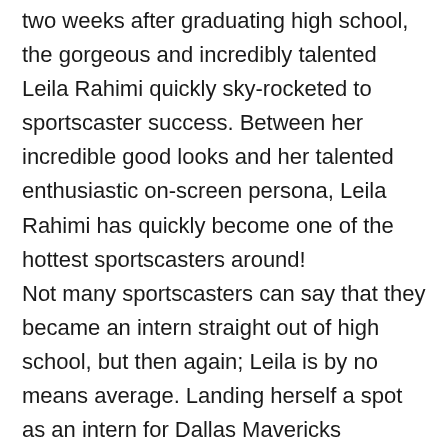two weeks after graduating high school, the gorgeous and incredibly talented Leila Rahimi quickly sky-rocketed to sportscaster success. Between her incredible good looks and her talented enthusiastic on-screen persona, Leila Rahimi has quickly become one of the hottest sportscasters around! Not many sportscasters can say that they became an intern straight out of high school, but then again; Leila is by no means average. Landing herself a spot as an intern for Dallas Mavericks announcers Wally Lynn and Mike Fisher shortly after graduating high school, it